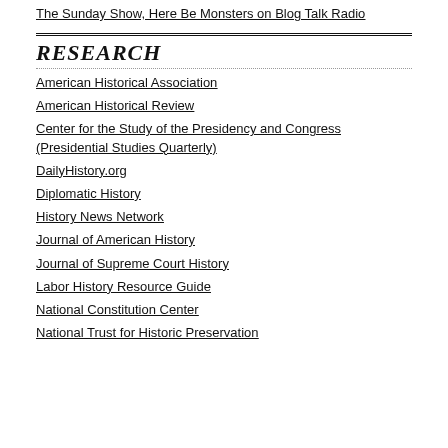The Sunday Show, Here Be Monsters on Blog Talk Radio
RESEARCH
American Historical Association
American Historical Review
Center for the Study of the Presidency and Congress (Presidential Studies Quarterly)
DailyHistory.org
Diplomatic History
History News Network
Journal of American History
Journal of Supreme Court History
Labor History Resource Guide
National Constitution Center
National Trust for Historic Preservation